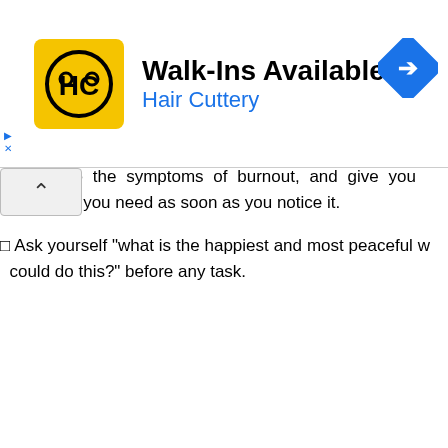[Figure (screenshot): Hair Cuttery advertisement banner with yellow logo, Walk-Ins Available text, and blue navigation arrow icon]
than you thought you would.
When asked to do something, ask questions upfront so expectations are clear.
Set a spiritual/mindset focus for every month.
Notice the symptoms of burnout, and give yourself something you need as soon as you notice it.
Ask yourself "what is the happiest and most peaceful way I could do this?" before any task.